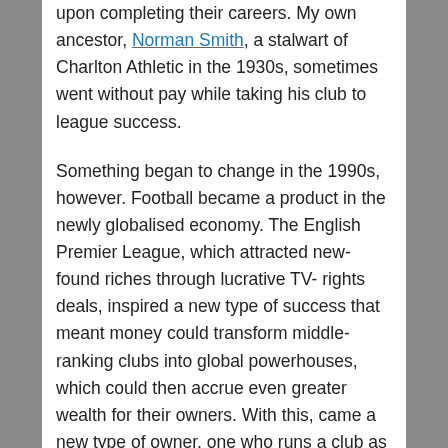upon completing their careers. My own ancestor, Norman Smith, a stalwart of Charlton Athletic in the 1930s, sometimes went without pay while taking his club to league success.
Something began to change in the 1990s, however. Football became a product in the newly globalised economy. The English Premier League, which attracted new-found riches through lucrative TV-rights deals, inspired a new type of success that meant money could transform middle-ranking clubs into global powerhouses, which could then accrue even greater wealth for their owners. With this, came a new type of owner, one who runs a club as a business.
As money became the decisive voice in the game, left behind were the supporters. Owners who are